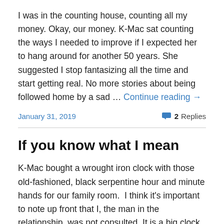I was in the counting house, counting all my money. Okay, our money. K-Mac sat counting the ways I needed to improve if I expected her to hang around for another 50 years. She suggested I stop fantasizing all the time and start getting real. No more stories about being followed home by a sad … Continue reading →
January 31, 2019   2 Replies
If you know what I mean
K-Mac bought a wrought iron clock with those old-fashioned, black serpentine hour and minute hands for our family room.  I think it's important to note up front that I, the man in the relationship, was not consulted. It is a big clock. Imagine yourself standing with your arms